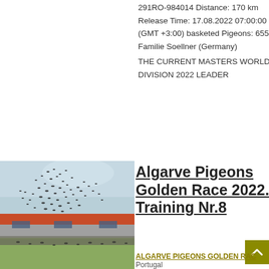291RO-984014 Distance: 170 km Release Time: 17.08.2022 07:00:00 (GMT +3:00) basketed Pigeons: 655 Familie Soellner (Germany) THE CURRENT MASTERS WORLD DIVISION 2022 LEADER
[Figure (photo): Photo of a pigeon loft building with a red/orange roof, flock of pigeons flying above against a cloudy sky, with green grass in the foreground.]
Algarve Pigeons Golden Race 2022. Training Nr.8
ALGARVE PIGEONS GOLDEN RAC... Portugal